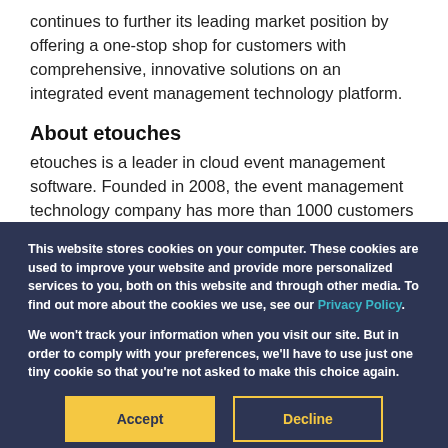continues to further its leading market position by offering a one-stop shop for customers with comprehensive, innovative solutions on an integrated event management technology platform.
About etouches
etouches is a leader in cloud event management software. Founded in 2008, the event management technology company has more than 1000 customers
This website stores cookies on your computer. These cookies are used to improve your website and provide more personalized services to you, both on this website and through other media. To find out more about the cookies we use, see our Privacy Policy.
We won't track your information when you visit our site. But in order to comply with your preferences, we'll have to use just one tiny cookie so that you're not asked to make this choice again.